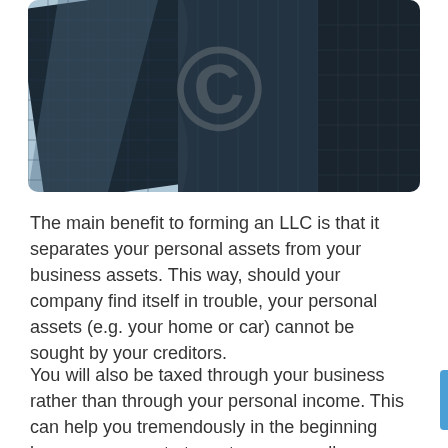[Figure (photo): Looking-up view of tall glass skyscrapers / office buildings against a blue sky, black and white toned photograph with a semi-transparent watermark overlay]
The main benefit to forming an LLC is that it separates your personal assets from your business assets. This way, should your company find itself in trouble, your personal assets (e.g. your home or car) cannot be sought by your creditors.
You will also be taxed through your business rather than through your personal income. This can help you tremendously in the beginning because corporate tax rates are usually significantly lower than personal rates and you